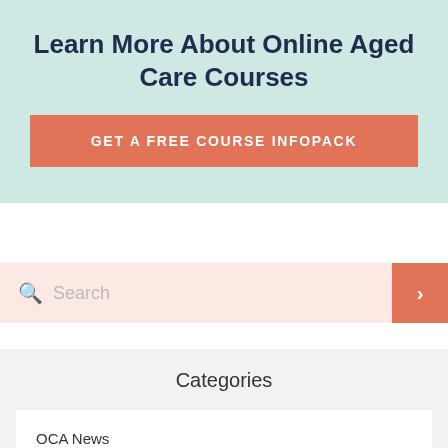Learn More About Online Aged Care Courses
GET A FREE COURSE INFOPACK
Search
Categories
OCA News